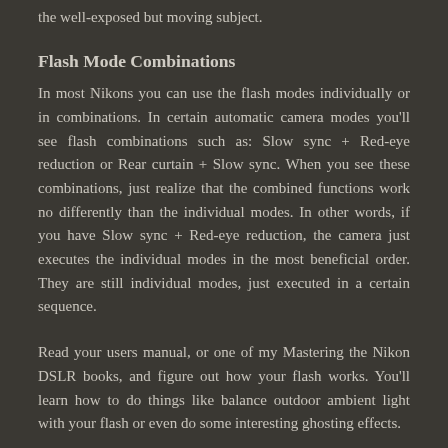the well-exposed but moving subject.
Flash Mode Combinations
In most Nikons you can use the flash modes individually or in combinations. In certain automatic camera modes you'll see flash combinations such as: Slow sync + Red-eye reduction or Rear curtain + Slow sync. When you see these combinations, just realize that the combined functions work no differently than the individual modes. In other words, if you have Slow sync + Red-eye reduction, the camera just executes the individual modes in the most beneficial order. They are still individual modes, just executed in a certain sequence.
Read your users manual, or one of my Mastering the Nikon DSLR books, and figure out how your flash works. You'll learn how to do things like balance outdoor ambient light with your flash or even do some interesting ghosting effects.